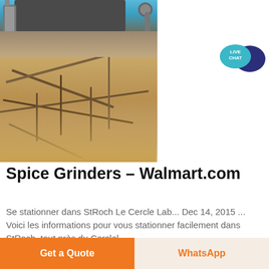[Figure (photo): Two photos stacked: top shows blue industrial grinding/milling machine with pipes and hoses; bottom shows aerial/outdoor view of industrial conveyor belt structures in a sandy/dusty environment.]
[Figure (other): Live Chat button icon: teal speech bubble with 'LIVE CHAT' text overlapping a dark purple/navy speech bubble.]
Spice Grinders – Walmart.com
Se stationner dans StRoch Le Cercle Lab... Dec 14, 2015 ... Voici les informations pour vous stationner facilement dans StRoch, tout près du Cercle!